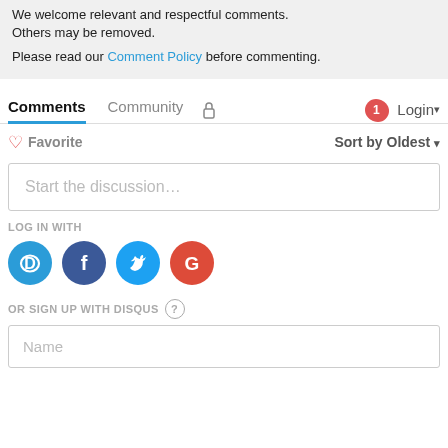We welcome relevant and respectful comments. Others may be removed.
Please read our Comment Policy before commenting.
Comments  Community  🔒  1 Login ▾
♡ Favorite    Sort by Oldest ▾
Start the discussion...
LOG IN WITH
[Figure (infographic): Social login icons: Disqus (blue D), Facebook (dark blue F), Twitter (light blue bird), Google (red G)]
OR SIGN UP WITH DISQUS ?
Name